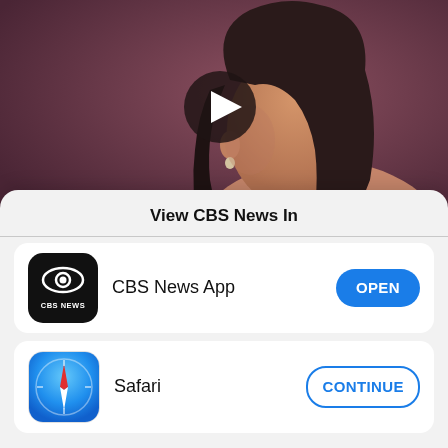[Figure (screenshot): Video thumbnail showing a young woman's profile/side view with long dark hair and earrings, against a dark reddish-brown background, with a play button overlay in the center]
As Mexican investigators struggle with the so-far inexplicable death of an 18-year-old woman, the odds
View CBS News In
[Figure (logo): CBS News App icon — black rounded square with CBS eye logo and 'CBS NEWS' text]
CBS News App
[Figure (logo): Safari browser icon — blue compass/safari icon with red and white needle]
Safari